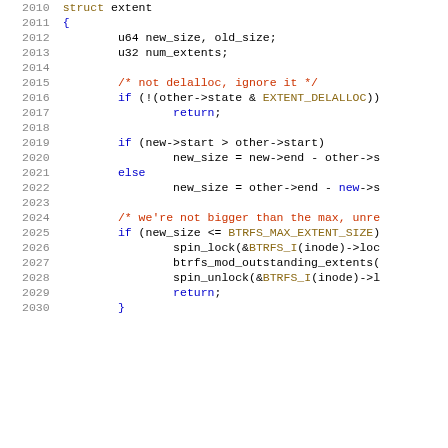[Figure (screenshot): Source code listing showing C code lines 2010-2030 with syntax highlighting. Line numbers in gray on left, code on right with keywords in blue, comments in red/orange, constants in gold/brown.]